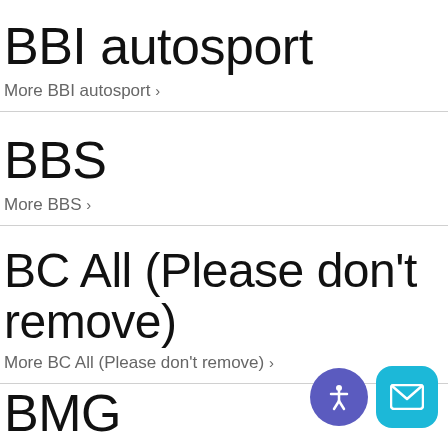BBI autosport
More BBI autosport ›
BBS
More BBS ›
BC All (Please don't remove)
More BC All (Please don't remove) ›
BMG